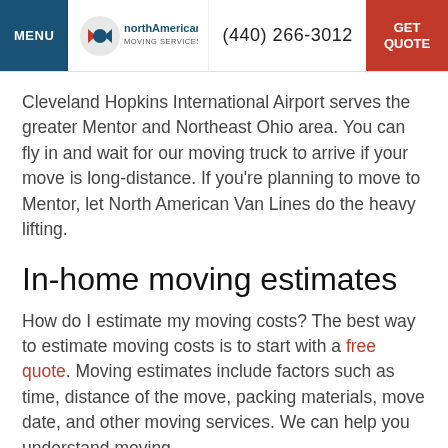MENU | northAmerican Moving Services | (440) 266-3012 | GET QUOTE
Cleveland Hopkins International Airport serves the greater Mentor and Northeast Ohio area. You can fly in and wait for our moving truck to arrive if your move is long-distance. If you're planning to move to Mentor, let North American Van Lines do the heavy lifting.
In-home moving estimates
How do I estimate my moving costs? The best way to estimate moving costs is to start with a free quote. Moving estimates include factors such as time, distance of the move, packing materials, move date, and other moving services. We can help you understand moving...